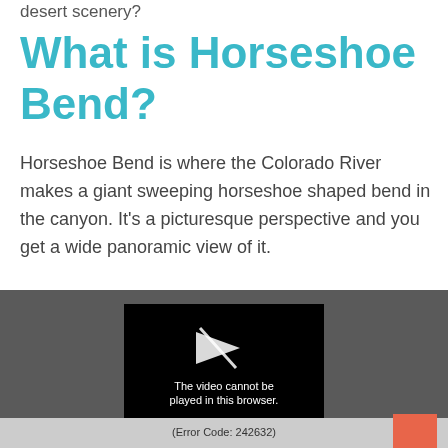desert scenery?
What is Horseshoe Bend?
Horseshoe Bend is where the Colorado River makes a giant sweeping horseshoe shaped bend in the canyon. It's a picturesque perspective and you get a wide panoramic view of it.
[Figure (screenshot): Video player showing error message: 'The video cannot be played in this browser. (Error Code: 242632)' with a play icon on black background, set within a dark grey container with an orange/red scroll button visible at bottom right.]